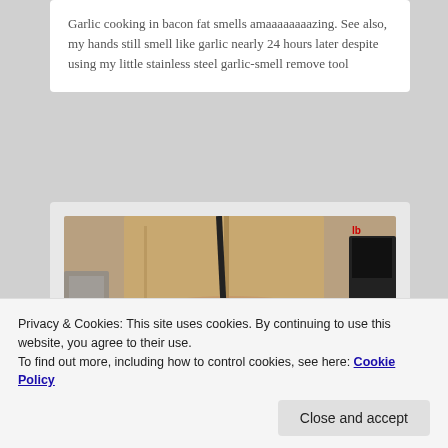Garlic cooking in bacon fat smells amaaaaaaaazing. See also, my hands still smell like garlic nearly 24 hours later despite using my little stainless steel garlic-smell remove tool
[Figure (photo): A kitchen scene showing a large glass bowl on a counter with tomatoes inside, a paper bag in the background, kitchen appliances including what appears to be a blender, and a KO-branded appliance visible on the right side.]
Privacy & Cookies: This site uses cookies. By continuing to use this website, you agree to their use.
To find out more, including how to control cookies, see here: Cookie Policy